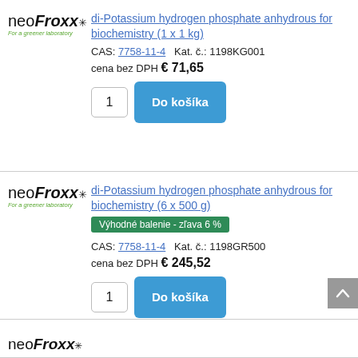[Figure (logo): neoFroxx logo - 'For a greener laboratory' tagline, first product]
di-Potassium hydrogen phosphate anhydrous for biochemistry (1 x 1 kg)
CAS: 7758-11-4   Kat. č.: 1198KG001
cena bez DPH € 71,65
[Figure (logo): neoFroxx logo - 'For a greener laboratory' tagline, second product]
di-Potassium hydrogen phosphate anhydrous for biochemistry (6 x 500 g)
Výhodné balenie - zľava 6 %
CAS: 7758-11-4   Kat. č.: 1198GR500
cena bez DPH € 245,52